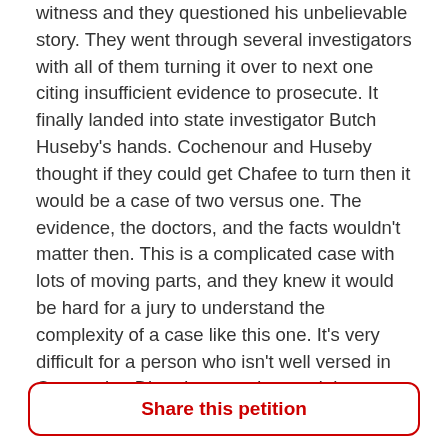witness and they questioned his unbelievable story. They went through several investigators with all of them turning it over to next one citing insufficient evidence to prosecute. It finally landed into state investigator Butch Huseby's hands. Cochenour and Huseby thought if they could get Chafee to turn then it would be a case of two versus one. The evidence, the doctors, and the facts wouldn't matter then. This is a complicated case with lots of moving parts, and they knew it would be hard for a jury to understand the complexity of a case like this one. It's very difficult for a person who isn't well versed in Conversion Disorder to understand the complexities of it.
Meanwhile, Chafee had been sitting in Montana Womens' Prison for arson and theft for two years, and
Share this petition